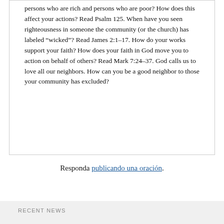persons who are rich and persons who are poor? How does this affect your actions? Read Psalm 125. When have you seen righteousness in someone the community (or the church) has labeled “wicked”? Read James 2:1–17. How do your works support your faith? How does your faith in God move you to action on behalf of others? Read Mark 7:24–37. God calls us to love all our neighbors. How can you be a good neighbor to those your community has excluded?
Responda publicando una oración.
RECENT NEWS